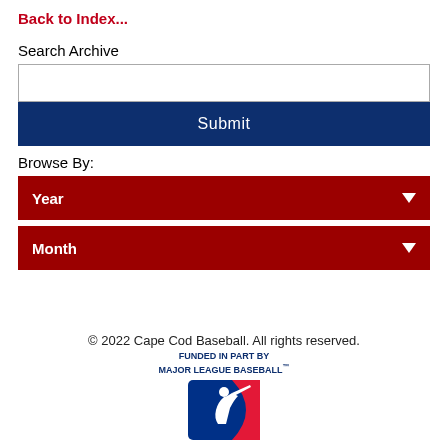Back to Index...
Search Archive
Submit
Browse By:
Year
Month
© 2022 Cape Cod Baseball. All rights reserved. FUNDED IN PART BY MAJOR LEAGUE BASEBALL